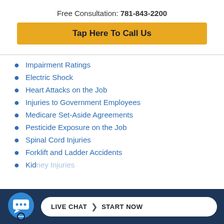Free Consultation: 781-843-2200
Tap Here To Call Us
Impairment Ratings
Electric Shock
Heart Attacks on the Job
Injuries to Government Employees
Medicare Set-Aside Agreements
Pesticide Exposure on the Job
Spinal Cord Injuries
Forklift and Ladder Accidents
Kidney Injuries
LIVE CHAT  START NOW